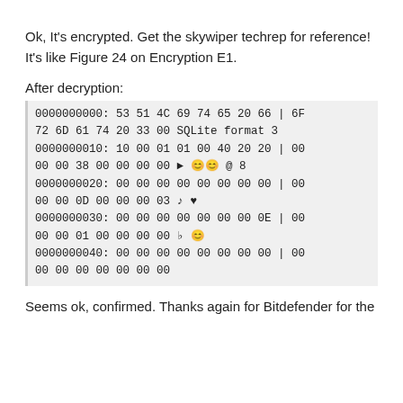Ok, It's encrypted. Get the skywiper techrep for reference! It's like Figure 24 on Encryption E1.
After decryption:
0000000000: 53 51 4C 69 74 65 20 66 | 6F
72 6D 61 74 20 33 00 SQLite format 3
0000000010: 10 00 01 01 00 40 20 20 | 00
00 00 38 00 00 00 00 ► 😊😊 @ 8
0000000020: 00 00 00 00 00 00 00 00 | 00
00 00 0D 00 00 00 03 ♪ ♥
0000000030: 00 00 00 00 00 00 00 0E | 00
00 00 01 00 00 00 00 ♩ 😊
0000000040: 00 00 00 00 00 00 00 00 | 00
00 00 00 00 00 00 00
Seems ok, confirmed. Thanks again for Bitdefender for the